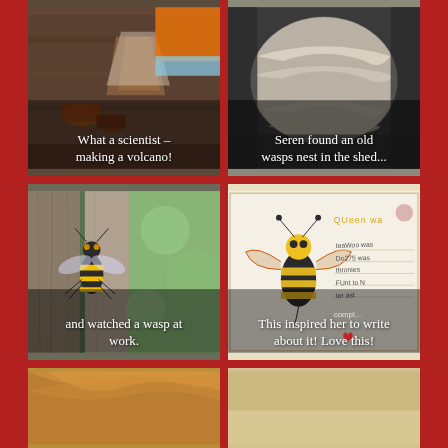[Figure (photo): Child making a volcano science experiment with materials on a wooden surface]
What a scientist – making a volcano!
[Figure (photo): Old wasps nest found in a shed, grey papery texture]
Seren found an old wasps nest in the shed...
[Figure (photo): Close-up photo of a wasp on weathered wooden fence]
and watched a wasp at work.
[Figure (photo): Child's drawing of a queen wasp with handwritten notes about wasps]
This inspired her to write about it! Love this!
[Figure (photo): Partial view of a child's hair, bottom strip]
[Figure (photo): Partial view of another image, bottom strip right side]